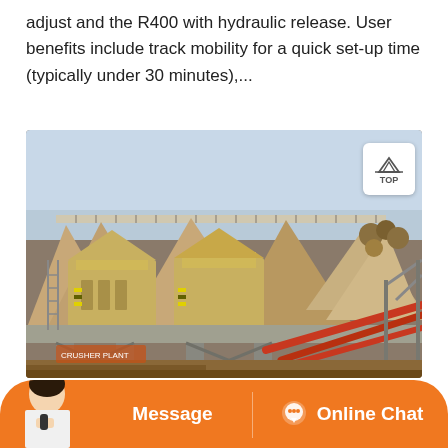adjust and the R400 with hydraulic release. User benefits include track mobility for a quick set-up time (typically under 30 minutes),...
[Figure (photo): Photograph of a large industrial jaw crusher / aggregate processing plant installation showing multiple crusher units mounted on an elevated platform structure, with stockpiles of crushed rock/aggregate material surrounding the equipment. The crushers are yellow-colored machines with structural steel frameworks. Red conveyor belts are visible in the foreground right. A 'TOP' button overlay is in the upper-right of the image.]
Message
Online Chat